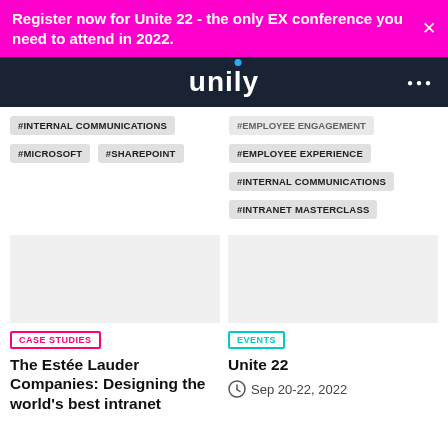Register now for Unite 22 - the only EX conference you need to attend in 2022.
[Figure (logo): Unily logo on dark navy background with menu dots]
#INTERNAL COMMUNICATIONS
#MICROSOFT   #SHAREPOINT
#EMPLOYEE ENGAGEMENT (partial)
#EMPLOYEE EXPERIENCE
#INTERNAL COMMUNICATIONS
#INTRANET MASTERCLASS
CASE STUDIES
The Estée Lauder Companies: Designing the world's best intranet
EVENTS
Unite 22
Sep 20-22, 2022